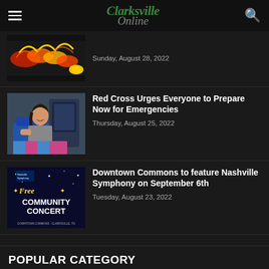Clarksville Online
[Figure (screenshot): Thumbnail image of colorful dragon display]
Sunday, August 28, 2022
[Figure (photo): Woman donating blood at Red Cross]
Red Cross Urges Everyone to Prepare Now for Emergencies
Thursday, August 25, 2022
[Figure (screenshot): Nashville Symphony Free Community Concert poster]
Downtown Commons to feature Nashville Symphony on September 6th
Tuesday, August 23, 2022
POPULAR CATEGORY
News 25712